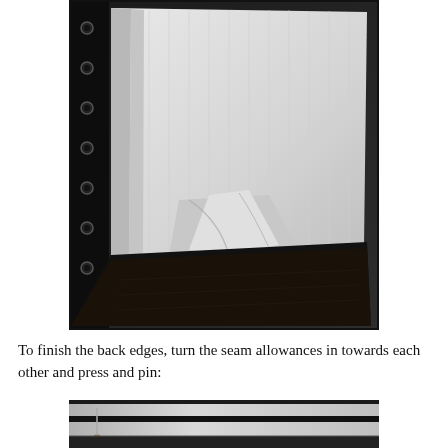[Figure (photo): Black and white photo of white striped fabric laid out on a dark surface with metal grommets/eyelets visible on the left side. The fabric shows seam allowances folded and pinned.]
To finish the back edges, turn the seam allowances in towards each other and press and pin:
[Figure (photo): Partial black and white close-up photo of fabric with pins, showing seam allowances being pressed and pinned together.]